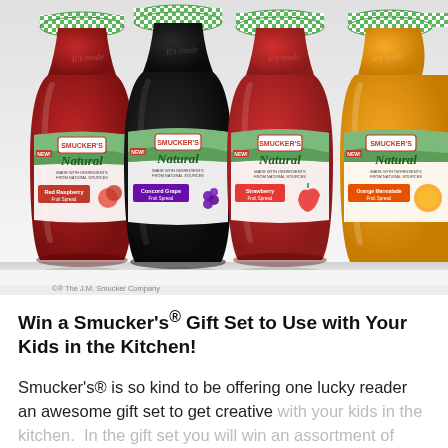[Figure (photo): Four jars of Smucker's Natural fruit spreads in a row — Red Raspberry, Concord Grape, Strawberry, and Orange Marmalade — with green and white checkered lids on a white background.]
©® The J.M. Smucker Company
Win a Smucker's® Gift Set to Use with Your Kids in the Kitchen!
Smucker's® is so kind to be offering one lucky reader an awesome gift set to get creative with your kids in the kitchen.  In the gift set you will win an assortment of Smucker's®...